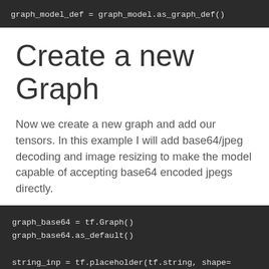graph_model_def = graph_model.as_graph_def()
Create a new Graph
Now we create a new graph and add our tensors. In this example I will add base64/jpeg decoding and image resizing to make the model capable of accepting base64 encoded jpegs directly.
graph_base64 = tf.Graph()
graph_base64.as_default()

string_inp = tf.placeholder(tf.string, shape=
imgs_map = tf.map_fn(
    tf.image.decode_image,
    string_inp